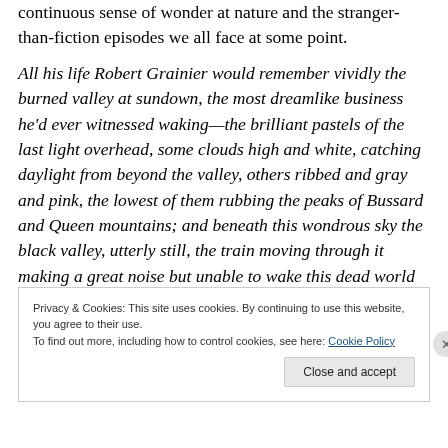continuous sense of wonder at nature and the stranger-than-fiction episodes we all face at some point.
All his life Robert Grainier would remember vividly the burned valley at sundown, the most dreamlike business he'd ever witnessed waking—the brilliant pastels of the last light overhead, some clouds high and white, catching daylight from beyond the valley, others ribbed and gray and pink, the lowest of them rubbing the peaks of Bussard and Queen mountains; and beneath this wondrous sky the black valley, utterly still, the train moving through it making a great noise but unable to wake this dead world
Privacy & Cookies: This site uses cookies. By continuing to use this website, you agree to their use.
To find out more, including how to control cookies, see here: Cookie Policy